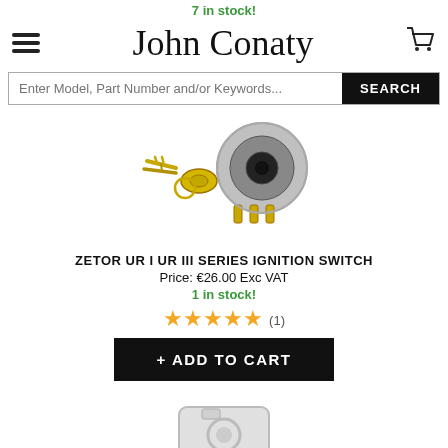7 in stock!
John Conaty
Enter Model, Part Number and/or Keywords... SEARCH
[Figure (photo): Zetor ignition switch with two keys on a key ring, showing the switch body with electrical terminals]
ZETOR UR I UR III SERIES IGNITION SWITCH
Price: €26.00 Exc VAT
1 in stock!
★★★★★ (1)
+ ADD TO CART
[Figure (photo): Placeholder camera icon for product image not yet loaded]